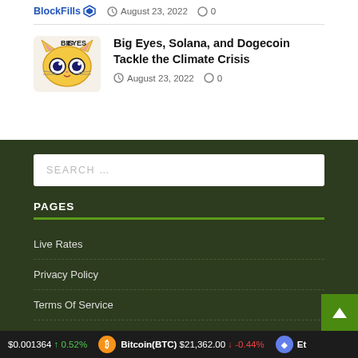[Figure (logo): BlockFills logo with diamond icon]
August 23, 2022  0
[Figure (logo): Big Eyes cryptocurrency logo - cartoon cat face with big eyes]
Big Eyes, Solana, and Dogecoin Tackle the Climate Crisis
August 23, 2022  0
PAGES
Live Rates
Privacy Policy
Terms Of Service
$0.001364  0.52%   Bitcoin(BTC) $21,362.00  -0.44%   Et